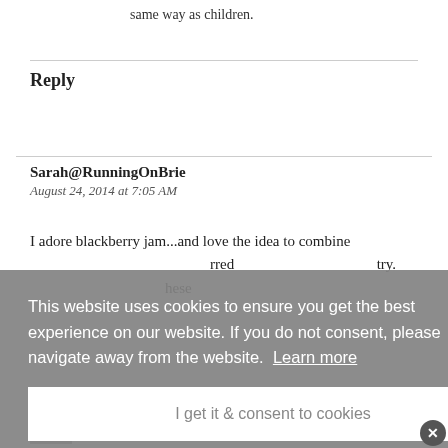same way as children.
Reply
Sarah@RunningOnBrie
August 24, 2014 at 7:05 AM
I adore blackberry jam...and love the idea to combine [text obscured by overlay] rred [text obscured] try. [text obscured] hese
This website uses cookies to ensure you get the best experience on our website. If you do not consent, please navigate away from the website. Learn more
I get it & consent to cookies
August 24, 2014 at 8:13 AM